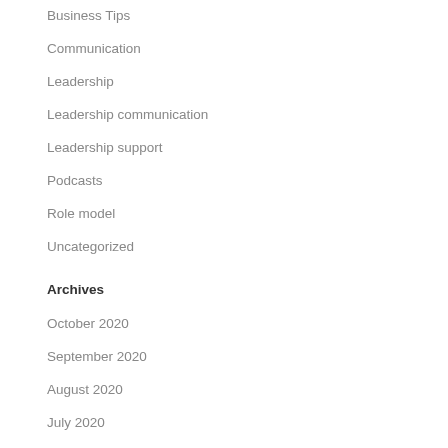Business Tips
Communication
Leadership
Leadership communication
Leadership support
Podcasts
Role model
Uncategorized
Archives
October 2020
September 2020
August 2020
July 2020
June 2020